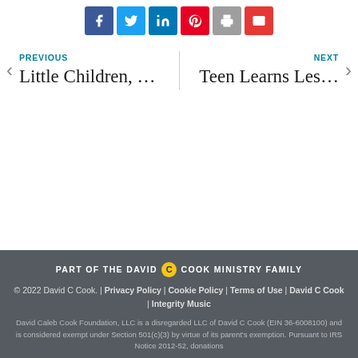[Figure (other): Row of social share buttons: Facebook (dark blue), Twitter (light blue), LinkedIn (blue), Pinterest (red), Print (gray), Email (red)]
PREVIOUS
Little Children, ...

NEXT
Teen Learns Les...
PART OF THE DAVID C COOK MINISTRY FAMILY
© 2022 David C Cook. | Privacy Policy | Cookie Policy | Terms of Use | David C Cook | Integrity Music
David Caleb Cook Foundation, LLC is a disregarded LLC of David C Cook (EIN 36-6008100) and is considered exempt under Section 501(c)(3) by virtue of its parent's exemption. Pursuant to IRS Notice 2012-52, donations...